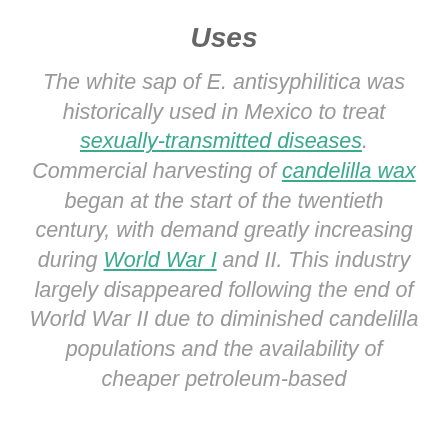Uses
The white sap of E. antisyphilitica was historically used in Mexico to treat sexually-transmitted diseases. Commercial harvesting of candelilla wax began at the start of the twentieth century, with demand greatly increasing during World War I and II. This industry largely disappeared following the end of World War II due to diminished candelilla populations and the availability of cheaper petroleum-based